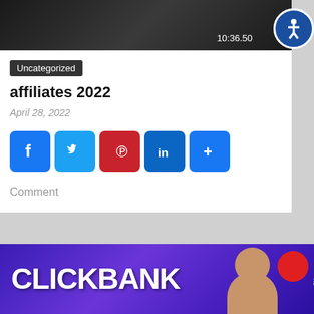[Figure (screenshot): Video thumbnail showing dark scene with timestamp 10:36.50 and an accessibility button (blue circle with person icon) in top right corner]
Uncategorized
affiliates 2022
April 28, 2022
[Figure (infographic): Social sharing icons: Facebook (blue), Twitter (blue), Pinterest (red), LinkedIn (blue), More/Plus (blue)]
Comment
[Figure (screenshot): ClickBank banner with purple gradient background, white bold CLICKBANK text, a man's face, and a red circle recording indicator]